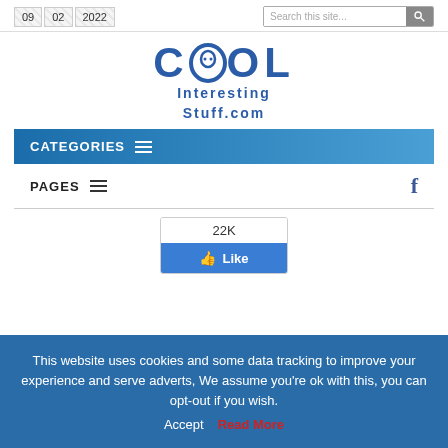09  02  2022  |  Search this site...
[Figure (logo): COOL Interesting Stuff.com logo with alien face in the O]
CATEGORIES ☰
PAGES ☰
[Figure (other): Facebook Like widget showing 22K likes]
This website uses cookies and some data tracking to improve your experience and serve adverts, We assume you're ok with this, you can opt-out if you wish.
Accept  Read More